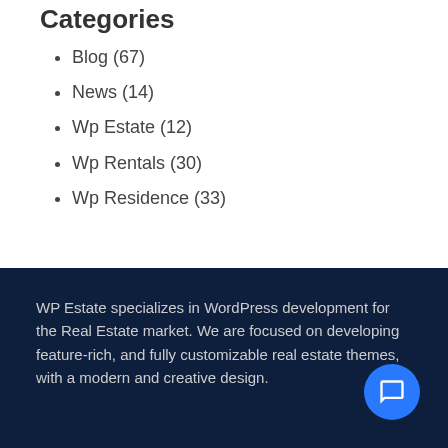Categories
Blog (67)
News (14)
Wp Estate (12)
Wp Rentals (30)
Wp Residence (33)
WP Estate specializes in WordPress development for the Real Estate market. We are focused on developing feature-rich, and fully customizable real estate themes, with a modern and creative design.